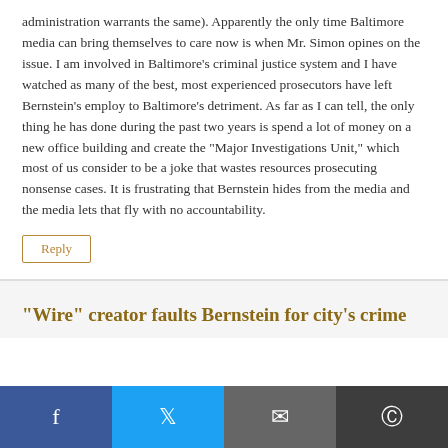administration warrants the same). Apparently the only time Baltimore media can bring themselves to care now is when Mr. Simon opines on the issue. I am involved in Baltimore's criminal justice system and I have watched as many of the best, most experienced prosecutors have left Bernstein's employ to Baltimore's detriment. As far as I can tell, the only thing he has done during the past two years is spend a lot of money on a new office building and create the "Major Investigations Unit," which most of us consider to be a joke that wastes resources prosecuting nonsense cases. It is frustrating that Bernstein hides from the media and the media lets that fly with no accountability.
Reply
"Wire" creator faults Bernstein for city's crime
[Figure (infographic): Social sharing bar with four buttons: Facebook (blue), Twitter (cyan), Email (dark grey), Reddit (dark grey)]